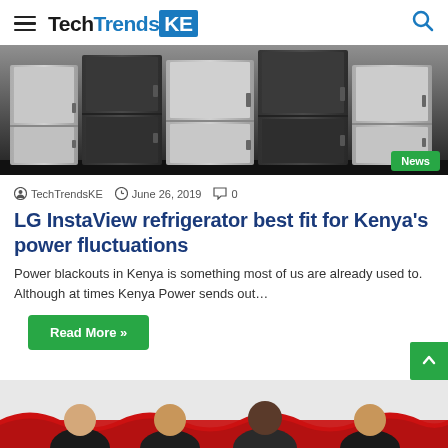TechTrendsKE
[Figure (photo): Multiple stainless steel refrigerators displayed in a showroom with a 'News' badge overlay]
TechTrendsKE   June 26, 2019   0
LG InstaView refrigerator best fit for Kenya's power fluctuations
Power blackouts in Kenya is something most of us are already used to. Although at times Kenya Power sends out…
Read More »
[Figure (photo): Group of people standing in front of a red decorated backdrop]